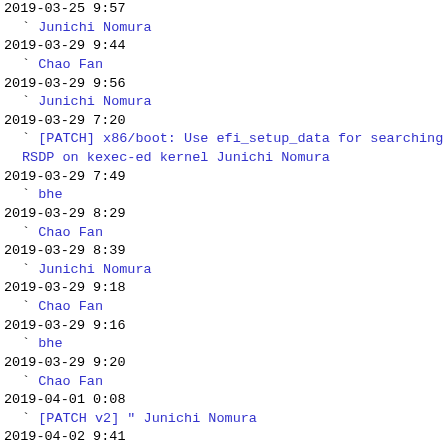2019-03-25  9:57
` Junichi Nomura
2019-03-29  9:44
` Chao Fan
2019-03-29  9:56
` Junichi Nomura
2019-03-29  7:20
` [PATCH] x86/boot: Use efi_setup_data for searching RSDP on kexec-ed kernel Junichi Nomura
2019-03-29  7:49
` bhe
2019-03-29  8:29
` Chao Fan
2019-03-29  8:39
` Junichi Nomura
2019-03-29  9:18
` Chao Fan
2019-03-29  9:16
` bhe
2019-03-29  9:20
` Chao Fan
2019-04-01  0:08
` [PATCH v2] " Junichi Nomura
2019-04-02  9:41
` Chao Fan
2019-04-02  9:53
` Junichi Nomura
2019-04-02 11:06
` Chao Fan
2019-04-02 10:22
` Junichi Nomura